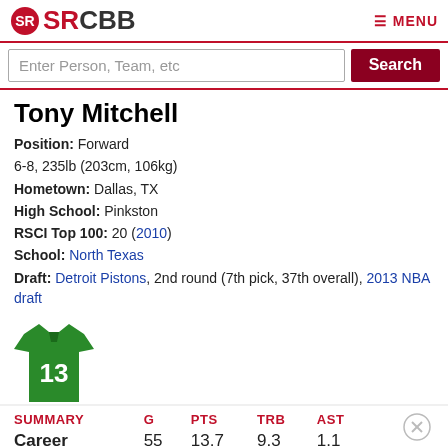SRCBB — MENU
Enter Person, Team, etc — Search
Tony Mitchell
Position: Forward
6-8, 235lb (203cm, 106kg)
Hometown: Dallas, TX
High School: Pinkston
RSCI Top 100: 20 (2010)
School: North Texas
Draft: Detroit Pistons, 2nd round (7th pick, 37th overall), 2013 NBA draft
[Figure (illustration): Green basketball jersey with number 13]
| SUMMARY | G | PTS | TRB | AST |
| --- | --- | --- | --- | --- |
| Career | 55 | 13.7 | 9.3 | 1.1 |
[Figure (other): Bloomingdale's advertisement: View Today's Top Deals! SHOP NOW >]